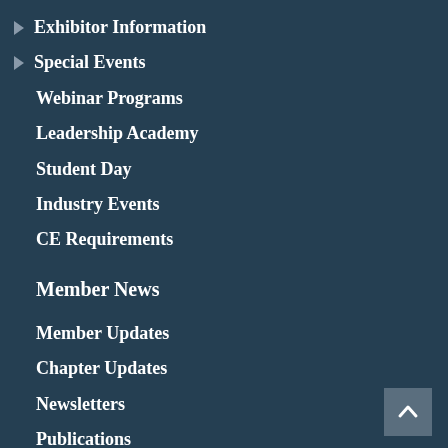▶ Exhibitor Information
▶ Special Events
Webinar Programs
Leadership Academy
Student Day
Industry Events
CE Requirements
Member News
Member Updates
Chapter Updates
Newsletters
Publications
Membership